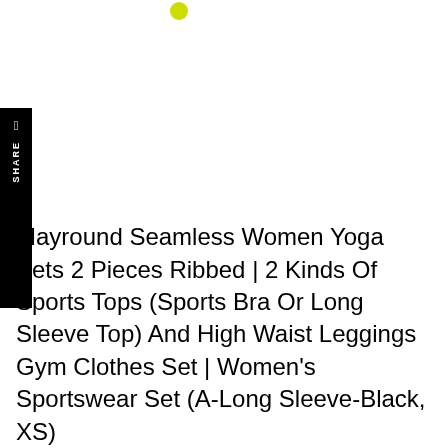[Figure (logo): Partial logo visible at top center — small yellow-green circle element]
SHARE
Mayround Seamless Women Yoga Sets 2 Pieces Ribbed | 2 Kinds Of Sports Tops (Sports Bra Or Long Sleeve Top) And High Waist Leggings Gym Clothes Set | Women's Sportswear Set (A-Long Sleeve-Black, XS)